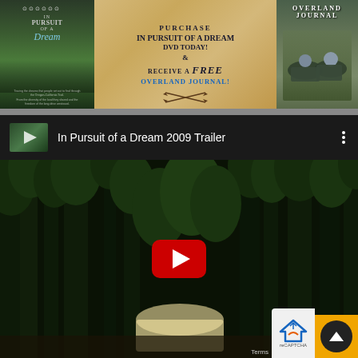[Figure (screenshot): Three-panel promotional banner: left panel shows 'In Pursuit of a Dream' movie poster with award laurels and green landscape; center panel on parchment background reads 'PURCHASE IN PURSUIT OF A DREAM DVD TODAY! & RECEIVE A FREE OVERLAND JOURNAL!'; right panel shows Overland Journal magazine cover with people on ground.]
[Figure (screenshot): Embedded YouTube video player showing trailer for 'In Pursuit of a Dream 2009 Trailer'. Header bar shows video thumbnail, title text, and three-dot menu. Video area shows forest/tree scene with YouTube play button overlay. reCAPTCHA widget and scroll-to-top button visible bottom right.]